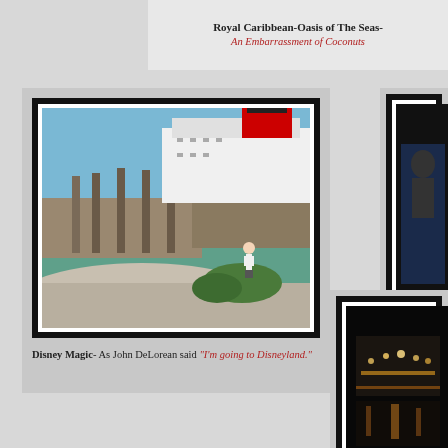Royal Caribbean-Oasis of The Seas- An Embarrassment of Coconuts
[Figure (photo): Person standing on rocky shore with Disney Magic cruise ship in background at a dock with turquoise water]
Disney Magic- As John DeLorean said "I'm going to Disneyland."
[Figure (photo): Dark nighttime photo of a cruise ship partially visible]
On Th... that I wa...
[Figure (photo): Dark nighttime photo showing lights on a ship structure]